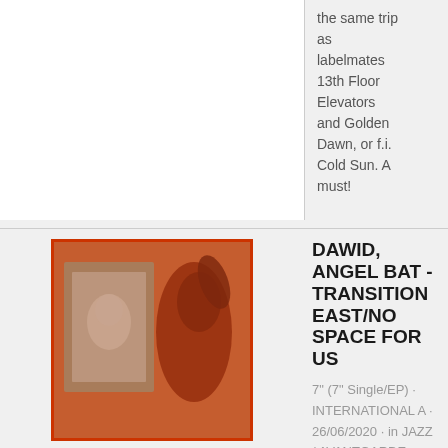the same trip as labelmates 13th Floor Elevators and Golden Dawn, or f.i. Cold Sun. A must!
[Figure (photo): Album cover for Dawid, Angel Bat - Transition East/No Space For Us. A reddish-toned photograph showing a figure in front of framed artwork.]
DAWID, ANGEL BAT - TRANSITION EAST/NO SPACE FOR US
7" (7" Single/EP) · INTERNATIONAL A · 26/06/2020 · in JAZZ / AVANTGARDE
Transition East/No Space For